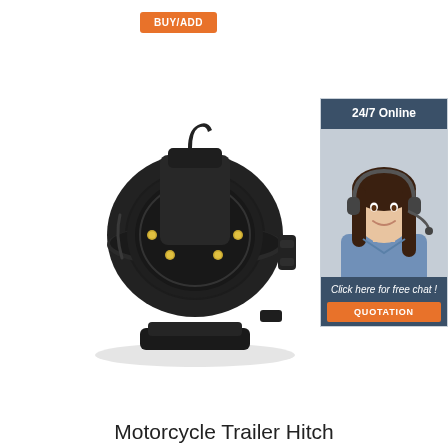[Figure (other): Orange 'BUY/ADD' button in top left area]
[Figure (photo): Motorcycle trailer hitch electrical connector adapter - black plastic 7-pin to 13-pin adapter plug with gold pins, viewed from front-left angle]
[Figure (infographic): 24/7 online chat widget showing: dark blue header with '24/7 Online' text, photo of smiling female customer service agent with headset, dark blue footer with 'Click here for free chat!' text and orange 'QUOTATION' button]
Motorcycle Trailer Hitch